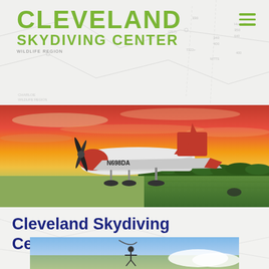[Figure (logo): Cleveland Skydiving Center logo with green bold text on map background]
[Figure (photo): Red Cessna Caravan airplane with tail number N698DA on runway at sunset with orange and red sky]
Cleveland Skydiving Center Updates
[Figure (photo): Aerial skydiving photo showing skydiver above clouds and landscape below, partially visible]